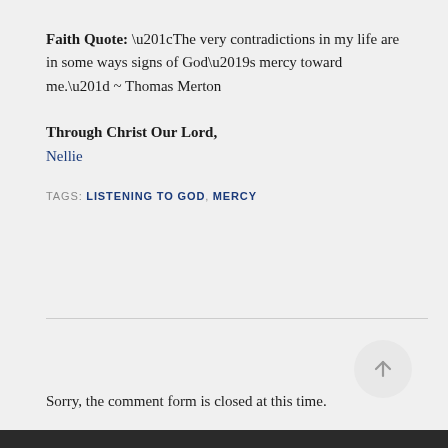Faith Quote:  “The very contradictions in my life are in some ways signs of God’s mercy toward me.” ~ Thomas Merton
Through Christ Our Lord,
Nellie
TAGS: LISTENING TO GOD, MERCY
Sorry, the comment form is closed at this time.